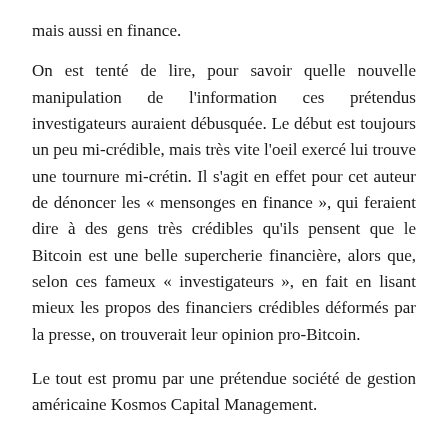mais aussi en finance.
On est tenté de lire, pour savoir quelle nouvelle manipulation de l'information ces prétendus investigateurs auraient débusquée. Le début est toujours un peu mi-crédible, mais très vite l'oeil exercé lui trouve une tournure mi-crétin. Il s'agit en effet pour cet auteur de dénoncer les « mensonges en finance », qui feraient dire à des gens très crédibles qu'ils pensent que le Bitcoin est une belle supercherie financière, alors que, selon ces fameux « investigateurs », en fait en lisant mieux les propos des financiers crédibles déformés par la presse, on trouverait leur opinion pro-Bitcoin.
Le tout est promu par une prétendue société de gestion américaine Kosmos Capital Management.